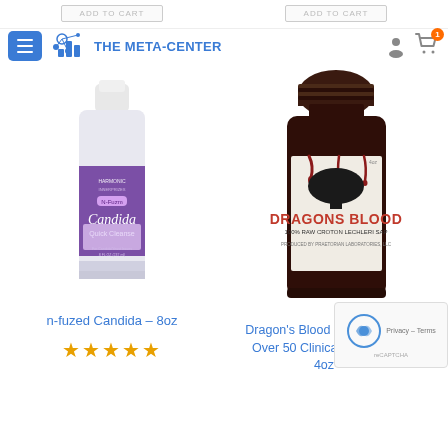The Meta-Center
[Figure (photo): Bottle of n-fuzed Candida Quick Cleanse 8oz with purple label by Harmonic Innerprizes]
n-fuzed Candida – 8oz
[Figure (photo): Dark brown bottle of Dragon's Blood 100% Raw Croton Lechleri Sap 4oz]
Dragon's Blood – Backed by Over 50 Clinical Studies – 4oz